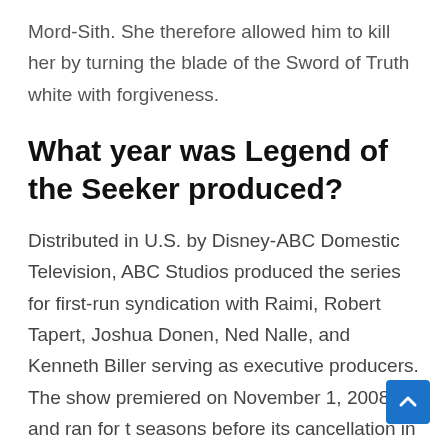Mord-Sith. She therefore allowed him to kill her by turning the blade of the Sword of Truth white with forgiveness.
What year was Legend of the Seeker produced?
Distributed in U.S. by Disney-ABC Domestic Television, ABC Studios produced the series for first-run syndication with Raimi, Robert Tapert, Joshua Donen, Ned Nalle, and Kenneth Biller serving as executive producers. The show premiered on November 1, 2008 and ran for t seasons before its cancellation in 2010.